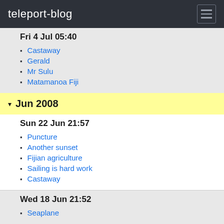teleport-blog
Fri 4 Jul 05:40
Castaway
Gerald
Mr Sulu
Matamanoa Fiji
Jun 2008
Sun 22 Jun 21:57
Puncture
Another sunset
Fijian agriculture
Sailing is hard work
Castaway
Wed 18 Jun 21:52
Seaplane
Fri 13 Jun 21:11
Salsa Verde 2??
Sunday service